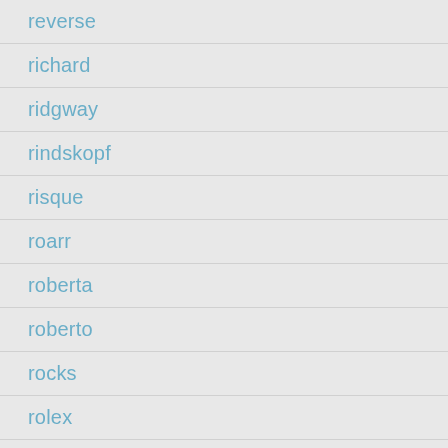reverse
richard
ridgway
rindskopf
risque
roarr
roberta
roberto
rocks
rolex
rolls
roro
rose